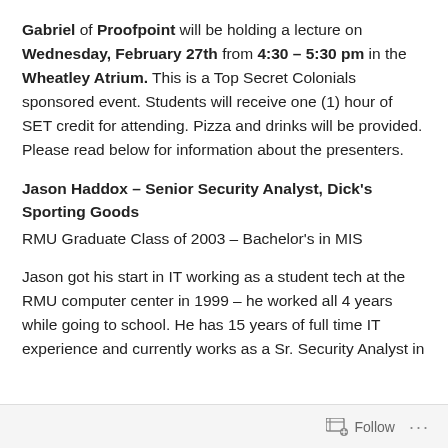Gabriel of Proofpoint will be holding a lecture on Wednesday, February 27th from 4:30 – 5:30 pm in the Wheatley Atrium. This is a Top Secret Colonials sponsored event. Students will receive one (1) hour of SET credit for attending. Pizza and drinks will be provided. Please read below for information about the presenters.
Jason Haddox – Senior Security Analyst, Dick's Sporting Goods
RMU Graduate Class of 2003 – Bachelor's in MIS
Jason got his start in IT working as a student tech at the RMU computer center in 1999 – he worked all 4 years while going to school. He has 15 years of full time IT experience and currently works as a Sr. Security Analyst in
Follow ···